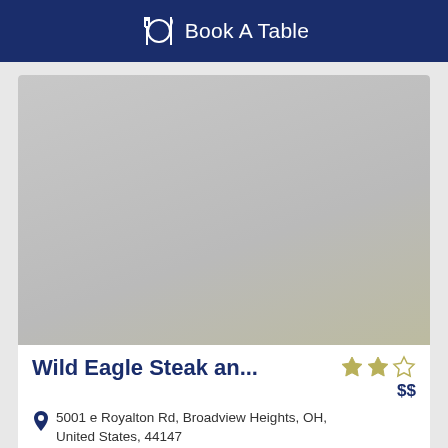Book A Table
[Figure (photo): Placeholder gray image for restaurant photo]
Wild Eagle Steak an...
★★☆ $$
5001 e Royalton Rd, Broadview Heights, OH, United States, 44147